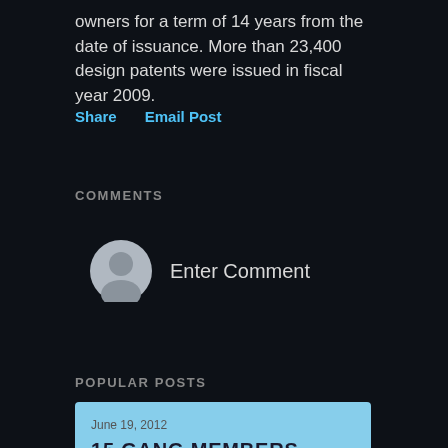owners for a term of 14 years from the date of issuance. More than 23,400 design patents were issued in fiscal year 2009.
Share   Email Post
COMMENTS
Enter Comment
POPULAR POSTS
June 19, 2012
15 GANG MEMBERS CONVICTED